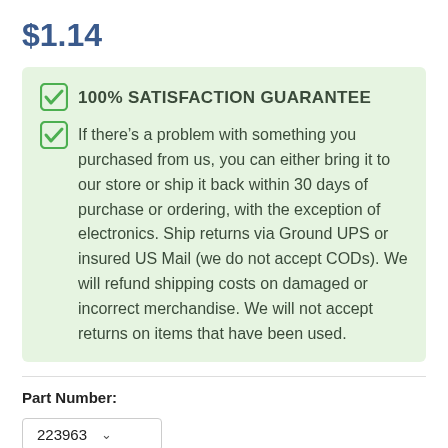$1.14
100% SATISFACTION GUARANTEE
If there’s a problem with something you purchased from us, you can either bring it to our store or ship it back within 30 days of purchase or ordering, with the exception of electronics. Ship returns via Ground UPS or insured US Mail (we do not accept CODs). We will refund shipping costs on damaged or incorrect merchandise. We will not accept returns on items that have been used.
Part Number:
223963